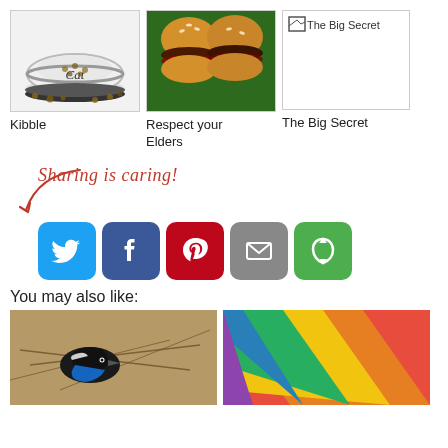[Figure (photo): Cat food bowl labeled 'Cat' with kibble around it]
Kibble
[Figure (photo): Two sloppy joe burgers on a green plate]
Respect your Elders
[Figure (screenshot): Broken image placeholder labeled 'The Big Secret']
The Big Secret
[Figure (infographic): Sharing is caring social share buttons for Twitter, Facebook, Pinterest, Email, and other]
You may also like:
[Figure (photo): Bird in nest with blue and black coloring]
[Figure (photo): Colorful diagonal stripes rainbow colors]